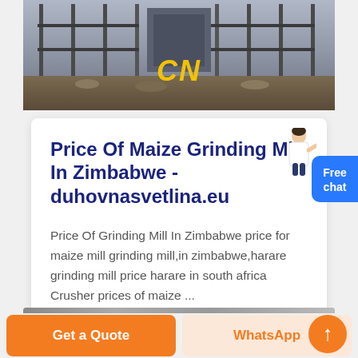[Figure (photo): Construction/industrial site image with scaffolding and steel structures, with yellow 'CN' text overlay in the center-bottom area]
Price Of Maize Grinding Mill In Zimbabwe - duhovnasvetlina.eu
Price Of Grinding Mill In Zimbabwe price for maize mill grinding mill,in zimbabwe,harare grinding mill price harare in south africa Crusher prices of maize ...
[Figure (photo): Partial construction/industrial image at the bottom of the page]
Get a Quote
WhatsApp